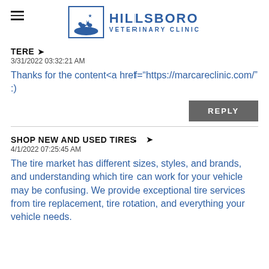Hillsboro Veterinary Clinic
TERE ➤
3/31/2022 03:32:21 AM
Thanks for the content<a href="https://marcareclinic.com/" :)
REPLY
SHOP NEW AND USED TIRES ➤
4/1/2022 07:25:45 AM
The tire market has different sizes, styles, and brands, and understanding which tire can work for your vehicle may be confusing. We provide exceptional tire services from tire replacement, tire rotation, and everything your vehicle needs.